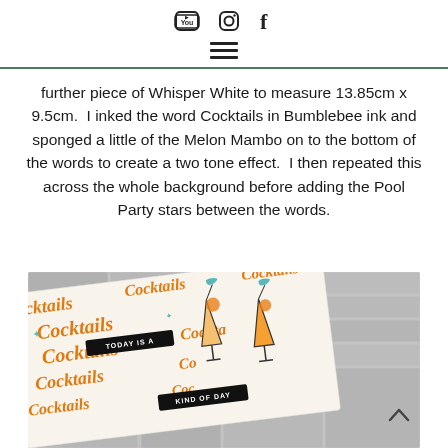[Social media icons: YouTube, Instagram, Facebook] [Hamburger menu icon]
further piece of Whisper White to measure 13.85cm x 9.5cm.  I inked the word Cocktails in Bumblebee ink and sponged a little of the Melon Mambo on to the bottom of the words to create a two tone effect.  I then repeated this across the whole background before adding the Pool Party stars between the words.
[Figure (photo): Photo of a handmade greeting card on a grey brick wall background. The card features the word 'Cocktails' repeated in orange/gold italic text across the background with teal stars, and two cocktail glass illustrations with orange garnishes and teal umbrellas. Two black label banners read 'TODAY IS A' and 'KIND OF DAY'. A small upward chevron arrow is visible at the bottom right.]